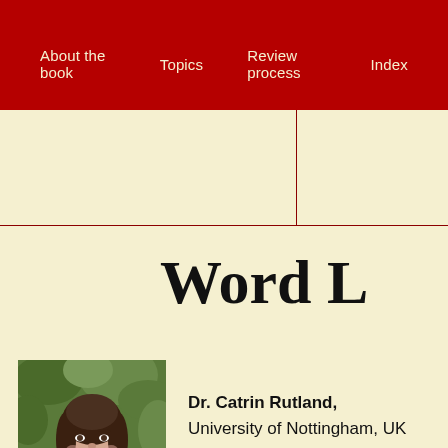About the book   Topics   Review process   Index
Word L
[Figure (photo): Headshot of Dr. Catrin Rutland, a woman with dark hair wearing a floral top, outdoors with green foliage in background]
Dr. Catrin Rutland,
University of Nottingham, UK